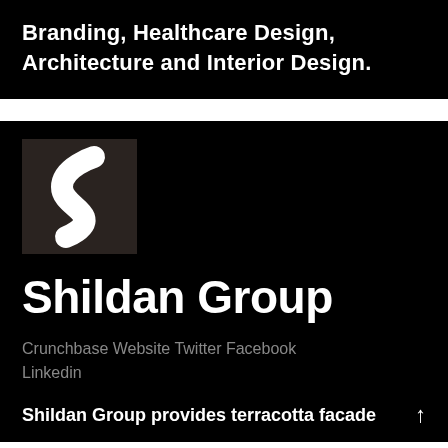Branding, Healthcare Design, Architecture and Interior Design.
[Figure (logo): Shildan Group logo: dark brown/black square with a stylized white S-curve shape]
Shildan Group
Crunchbase Website Twitter Facebook Linkedin
Shildan Group provides terracotta facade